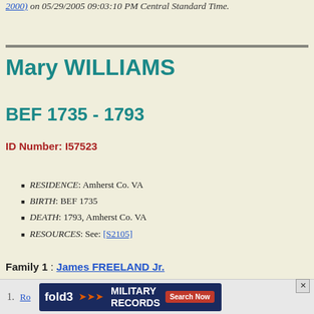2000) on 05/29/2005 09:03:10 PM Central Standard Time.
Mary WILLIAMS
BEF 1735 - 1793
ID Number: I57523
RESIDENCE: Amherst Co. VA
BIRTH: BEF 1735
DEATH: 1793, Amherst Co. VA
RESOURCES: See: [S2105]
Family 1 : James FREELAND Jr.
[Figure (other): Advertisement banner for fold3 Military Records by Ancestry with Search Now button]